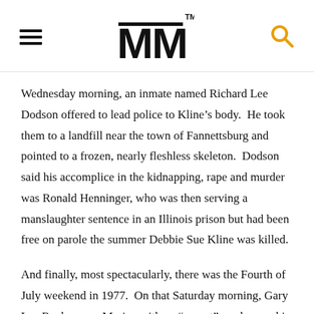MM
Wednesday morning, an inmate named Richard Lee Dodson offered to lead police to Kline’s body.  He took them to a landfill near the town of Fannettsburg and pointed to a frozen, nearly fleshless skeleton.  Dodson said his accomplice in the kidnapping, rape and murder was Ronald Henninger, who was then serving a manslaughter sentence in an Illinois prison but had been free on parole the summer Debbie Sue Kline was killed.
And finally, most spectacularly, there was the Fourth of July weekend in 1977.  On that Saturday morning, Gary Lee Rock, an ex-Marine with an “expert” marksmanship rating, did